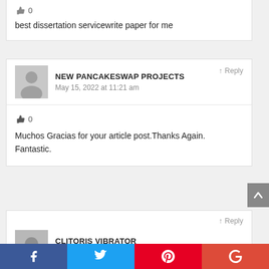👍 0
best dissertation servicewrite paper for me
Reply
NEW PANCAKESWAP PROJECTS
May 15, 2022 at 11:21 am
👍 0
Muchos Gracias for your article post.Thanks Again. Fantastic.
Reply
CLITORIS VIBRATOR
May 15, 2022 at 4:40 pm